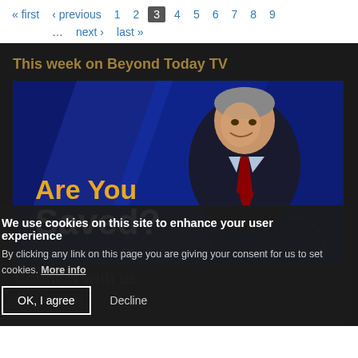« first ‹ previous 1 2 3 4 5 6 7 8 9 … next › last »
This week on Beyond Today TV
[Figure (photo): A smiling older man in a dark suit and red tie on a blue-lit TV studio set, with bold text overlay: 'Are You Saved?' in yellow and white]
We use cookies on this site to enhance your user experience By clicking any link on this page you are giving your consent for us to set cookies. More info
OK, I agree   Decline
Connect with us